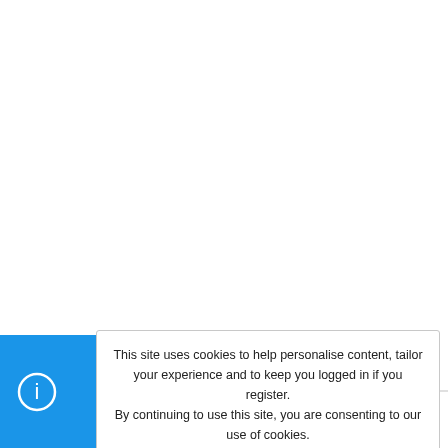👍 kingricefan, Dana Jean, Neesy and 2 others
Baz
Well-Known Member 🖊
This site uses cookies to help personalise content, tailor your experience and to keep you logged in if you register. By continuing to use this site, you are consenting to our use of cookies.
Accept
Learn more...